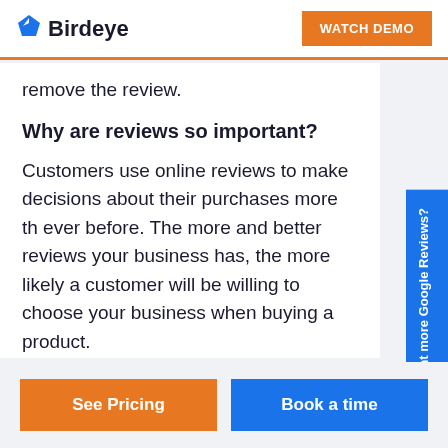Birdeye | WATCH DEMO
remove the review.
Why are reviews so important?
Customers use online reviews to make decisions about their purchases more than ever before. The more and better reviews your business has, the more likely a customer will be willing to choose your business when buying a product.
Want more Google Reviews?
See Pricing
Book a time